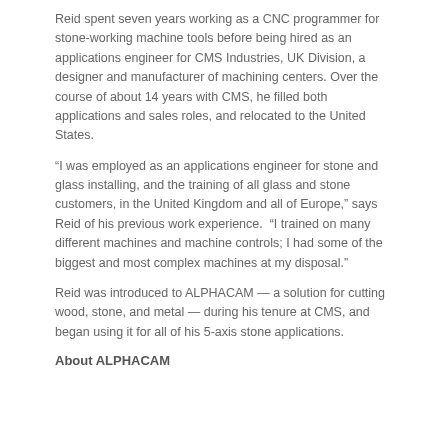Reid spent seven years working as a CNC programmer for stone-working machine tools before being hired as an applications engineer for CMS Industries, UK Division, a designer and manufacturer of machining centers. Over the course of about 14 years with CMS, he filled both applications and sales roles, and relocated to the United States.
“I was employed as an applications engineer for stone and glass installing, and the training of all glass and stone customers, in the United Kingdom and all of Europe,” says Reid of his previous work experience. “I trained on many different machines and machine controls; I had some of the biggest and most complex machines at my disposal.”
Reid was introduced to ALPHACAM — a solution for cutting wood, stone, and metal — during his tenure at CMS, and began using it for all of his 5-axis stone applications.
About ALPHACAM